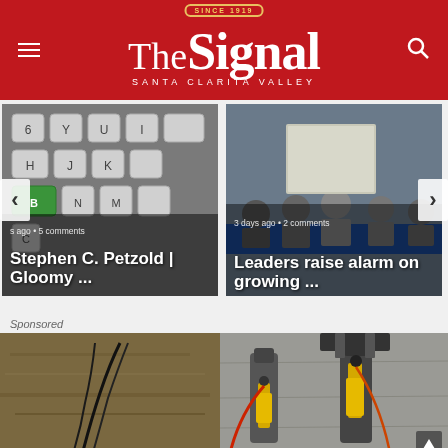The Signal – Santa Clarita Valley
[Figure (screenshot): Article card with keyboard image: 's ago • 5 comments / Stephen C. Petzold | Gloomy ...']
[Figure (screenshot): Article card with meeting image: '3 days ago • 2 comments / Leaders raise alarm on growing ...']
Sponsored
[Figure (photo): Sponsored image showing industrial/construction equipment with yellow hydraulic components against a concrete wall]